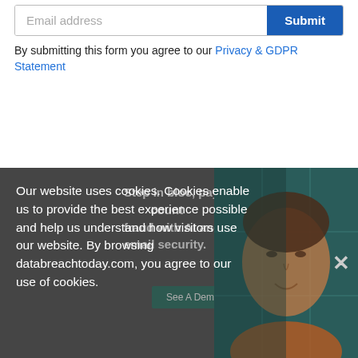Email address
By submitting this form you agree to our Privacy & GDPR Statement
[Figure (screenshot): Cookie consent overlay showing text: Our website uses cookies. Cookies enable us to provide the best experience possible and help us understand how visitors use our website. By browsing databreachtoday.com, you agree to our use of cookies. Overlaid on a dark background with a partial image of a woman on the right side and a close (X) button.]